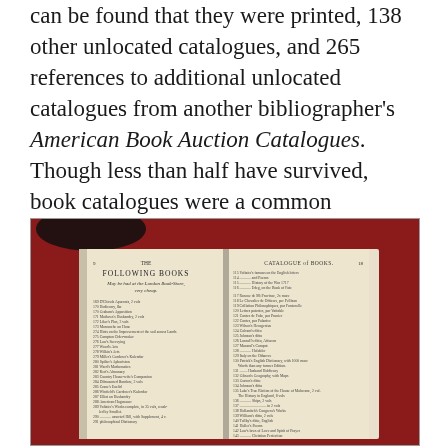can be found that they were printed, 138 other unlocated catalogues, and 265 references to additional unlocated catalogues from another bibliographer's American Book Auction Catalogues. Though less than half have survived, book catalogues were a common marketing medium in eighteenth-century America.
[Figure (photo): Photograph of an open antique book showing two pages. The left page is headed 'THE FOLLOWING BOOKS May be had at the London Book-Store, very cheap' and lists numbered items. The right page is headed 'CATALOGUE of BOOKS' and also lists numbered book titles. The book is lying on a red background.]